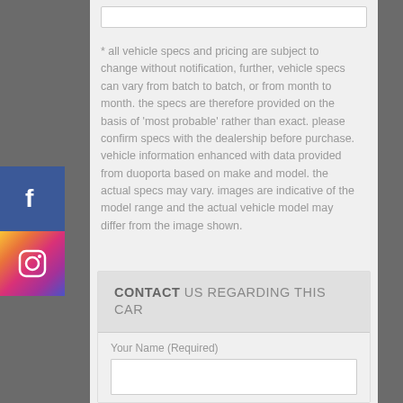* all vehicle specs and pricing are subject to change without notification, further, vehicle specs can vary from batch to batch, or from month to month. the specs are therefore provided on the basis of 'most probable' rather than exact. please confirm specs with the dealership before purchase. vehicle information enhanced with data provided from duoporta based on make and model. the actual specs may vary. images are indicative of the model range and the actual vehicle model may differ from the image shown.
CONTACT US REGARDING THIS CAR
Your Name (Required)